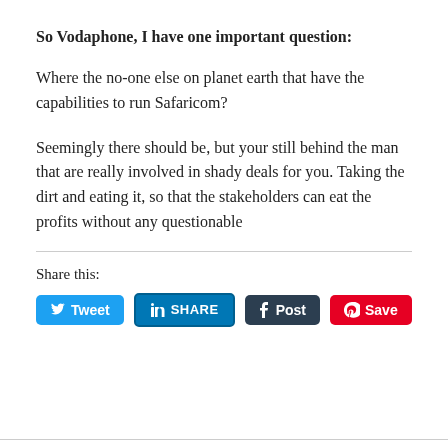So Vodaphone, I have one important question:
Where the no-one else on planet earth that have the capabilities to run Safaricom?
Seemingly there should be, but your still behind the man that are really involved in shady deals for you. Taking the dirt and eating it, so that the stakeholders can eat the profits without any questionable
Share this: